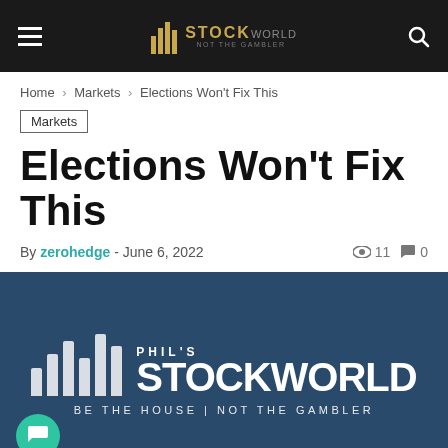Phil's Stock World — Be The House | Not The Gambler
Home › Markets › Elections Won't Fix This
Markets
Elections Won't Fix This
By zerohedge - June 6, 2022   👁 11  💬 0
[Figure (logo): Phil's Stock World logo on dark blue background with tagline 'Be The House | Not The Gambler']